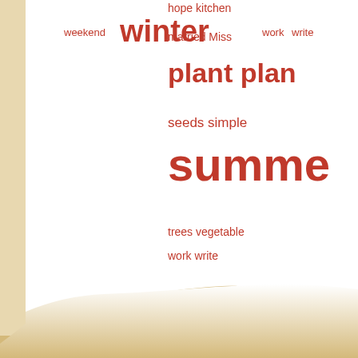[Figure (infographic): Word cloud / tag cloud showing various words in different sizes in red/orange color on a white and tan/beige background. Left side shows: weekend, winter (large), work, write. Right side (partially visible, cut off) shows: hope, kitchen, married, Miss, plant, plan, seeds, simple, summer (very large), trees, vegetable, work, write. Background is a warm tan/beige color with a white painted brush-stroke area in the upper left portion.]